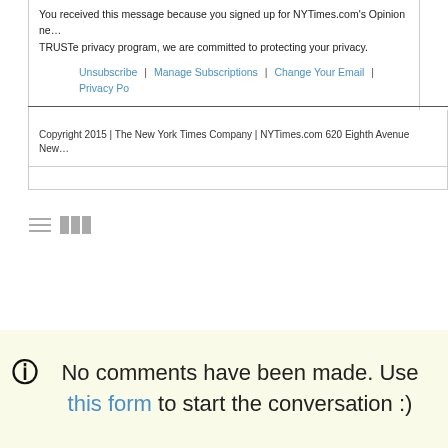You received this message because you signed up for NYTimes.com's Opinion newsletter. As a member of the TRUSTe privacy program, we are committed to protecting your privacy.
Unsubscribe | Manage Subscriptions | Change Your Email | Privacy Po...
Copyright 2015 | The New York Times Company | NYTimes.com 620 Eighth Avenue New...
No comments have been made. Use this form to start the conversation :)